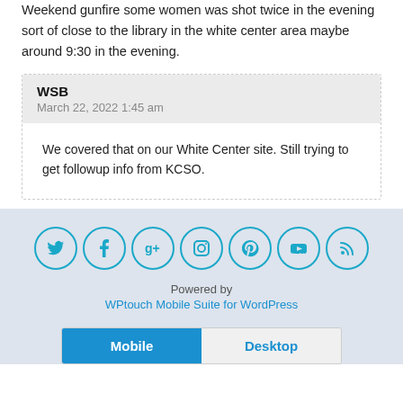Weekend gunfire some women was shot twice in the evening sort of close to the library in the white center area maybe around 9:30 in the evening.
WSB
March 22, 2022 1:45 am
We covered that on our White Center site. Still trying to get followup info from KCSO.
[Figure (infographic): Social media icons in circles: Twitter, Facebook, Google+, Instagram, Pinterest, YouTube, RSS]
Powered by
WPtouch Mobile Suite for WordPress
Mobile  Desktop